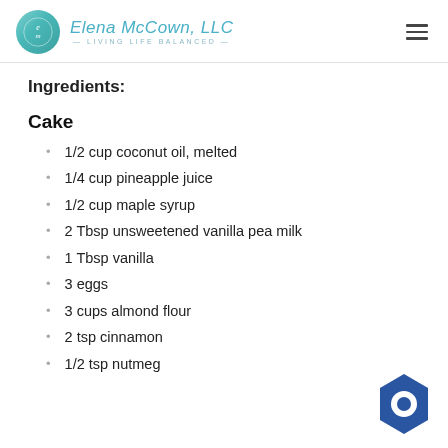Elena McCown, LLC — LIVING LIFE BALANCED
Ingredients:
Cake
1/2 cup coconut oil, melted
1/4 cup pineapple juice
1/2 cup maple syrup
2 Tbsp unsweetened vanilla pea milk
1 Tbsp vanilla
3 eggs
3 cups almond flour
2 tsp cinnamon
1/2 tsp nutmeg
[Figure (logo): Blue hexagon chat/support icon in the bottom right corner]